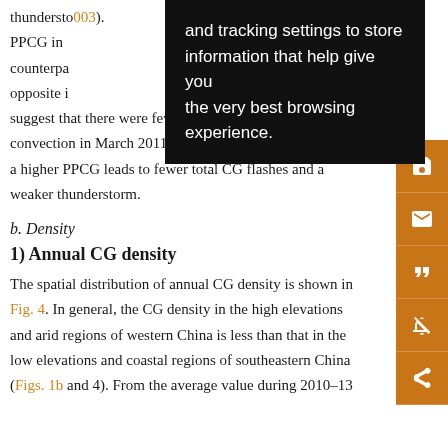thundersto... and tracking settings to store information that help give you the very best browsing experience. ...003). PPCG in ... counterpa... opposite i... ight suggest that there were fewer thunderstorms or weaker convection in March 2011. Qie et al. (2002) indicated that a higher PPCG leads to fewer total CG flashes and a weaker thunderstorm.
b. Density
1) Annual CG density
The spatial distribution of annual CG density is shown in Fig. 4. In general, the CG density in the high elevations and arid regions of western China is less than that in the low elevations and coastal regions of southeastern China (Figs. 1b and 4). From the average value during 2010–13